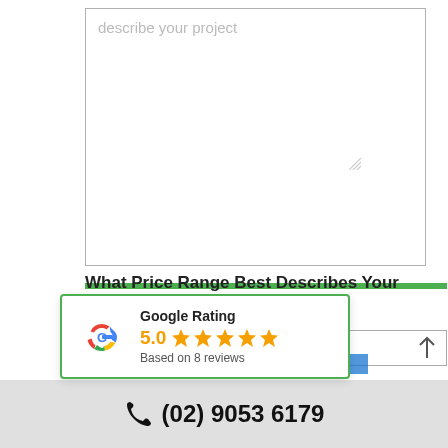describe your project
What Price Range Best Describes Your Budget?
(required)
g Options Below:
[Figure (infographic): Google Rating widget showing 5.0 stars based on 8 reviews, with Google G logo and green border]
(02) 9053 6179